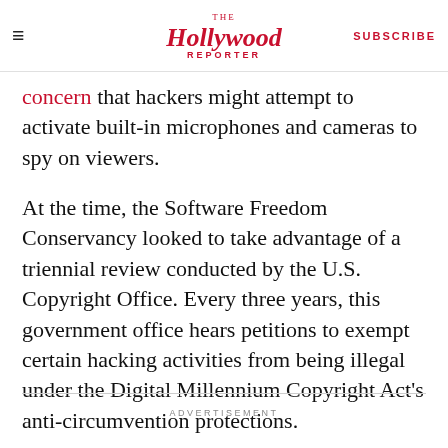The Hollywood Reporter | SUBSCRIBE
concern that hackers might attempt to activate built-in microphones and cameras to spy on viewers.
At the time, the Software Freedom Conservancy looked to take advantage of a triennial review conducted by the U.S. Copyright Office. Every three years, this government office hears petitions to exempt certain hacking activities from being illegal under the Digital Millennium Copyright Act's anti-circumvention protections.
ADVERTISEMENT